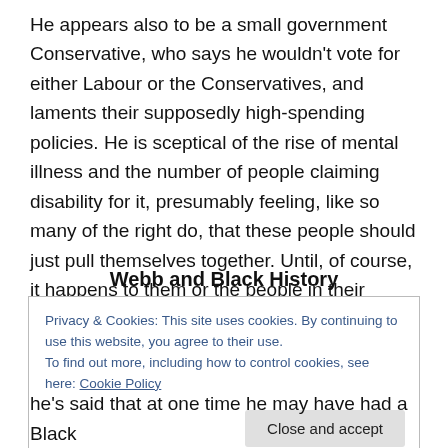He appears also to be a small government Conservative, who says he wouldn't vote for either Labour or the Conservatives, and laments their supposedly high-spending policies. He is sceptical of the rise of mental illness and the number of people claiming disability for it, presumably feeling, like so many of the right do, that these people should just pull themselves together. Until, of course, it happens to them or the people in their class. Then it's different.
Webb and Black History
Privacy & Cookies: This site uses cookies. By continuing to use this website, you agree to their use.
To find out more, including how to control cookies, see here: Cookie Policy
he's said that at one time he may have had a Black